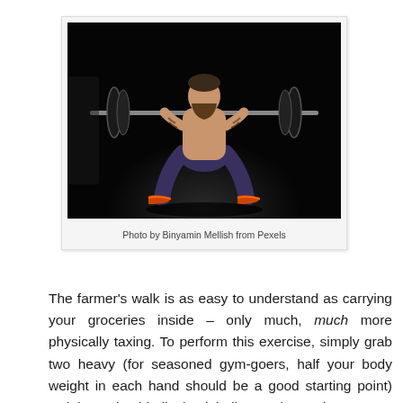[Figure (photo): A muscular tattooed man performing a heavy barbell squat in a dark gym setting, wearing orange shoes, shot in dramatic low-key lighting.]
Photo by Binyamin Mellish from Pexels
The farmer's walk is as easy to understand as carrying your groceries inside – only much, much more physically taxing. To perform this exercise, simply grab two heavy (for seasoned gym-goers, half your body weight in each hand should be a good starting point) weights – dumbbells, kettlebells, trap bars, plates, etc.